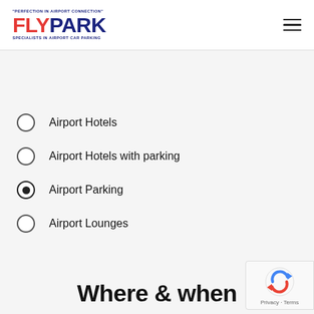FLYPARK - Perfection in Airport Connection - Specialists in Airport Car Parking
Airport Hotels
Airport Hotels with parking
Airport Parking (selected)
Airport Lounges
Where & when